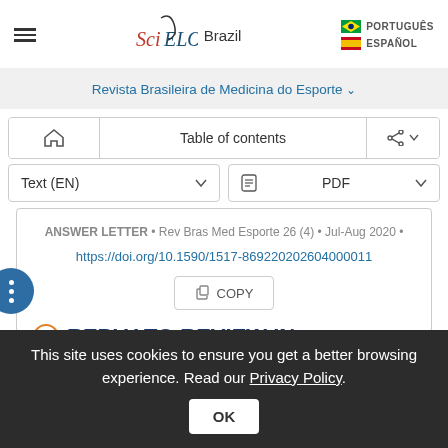SciELO Brazil — navigation header with language options PORTUGUÊS and ESPAÑOL
Revista Brasileira de Medicina do Esporte
Table of contents
Text (EN)  PDF
ANSWER LETTER • Rev Bras Med Esporte 26 (4) • Jul-Aug 2020 •
https://doi.org/10.1590/1517-869220202604000011
COPY
REPLY TO REVIEW IN
This site uses cookies to ensure you get a better browsing experience. Read our Privacy Policy.
OK